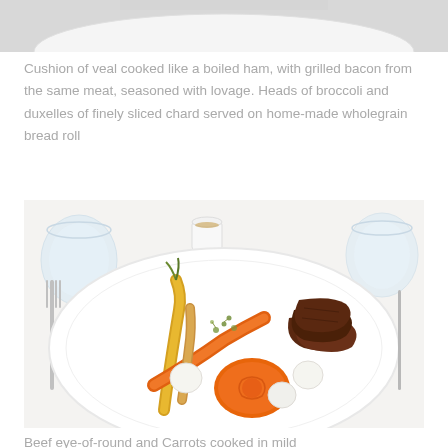[Figure (photo): Partial top view of a white plate with food, cut off at top of page]
Cushion of veal cooked like a boiled ham, with grilled bacon from the same meat, seasoned with lovage. Heads of broccoli and duxelles of finely sliced chard served on home-made wholegrain bread roll
[Figure (photo): A white plate on a restaurant table setting with fork on left. Plate contains sliced beef, carrots (orange and yellow), turnips/small onions, and herbs. Water glasses and a small cup visible in background.]
Beef eye-of-round and Carrots cooked in mild